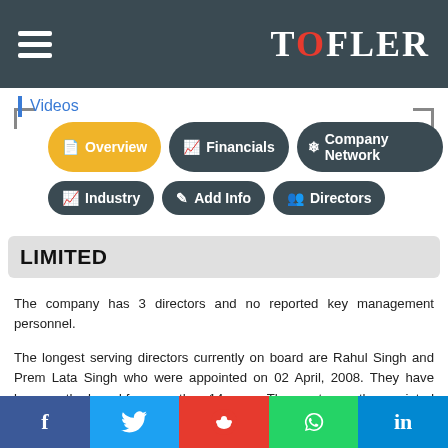TOFLER
Videos
[Figure (screenshot): Navigation buttons: Overview (active, yellow), Financials, Company Network, Industry, Add Info, Directors]
LIMITED
The company has 3 directors and no reported key management personnel.
The longest serving directors currently on board are Rahul Singh and Prem Lata Singh who were appointed on 02 April, 2008. They have been on the board for more than 14 years. The most recently appointed director is Shweta Singh, who was appointed on 01 June, 2016.
Rahul Singh has the largest number of other directorships with a seat at a total of 2 companies. In total, the company is
f  Twitter  Reddit  WhatsApp  in